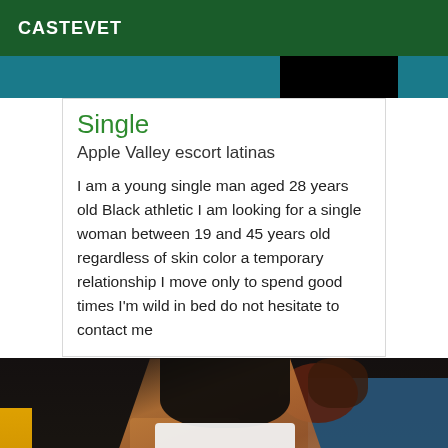CASTEVET
[Figure (photo): Partial view of a photo strip at top of page, showing teal/black tones]
Single
Apple Valley escort latinas
I am a young single man aged 28 years old Black athletic I am looking for a single woman between 19 and 45 years old regardless of skin color a temporary relationship I move only to spend good times I'm wild in bed do not hesitate to contact me
[Figure (photo): Photo of a person sitting on a wicker chair outdoors at night, wearing white shorts and black top, with a swimming pool and plants in the background]